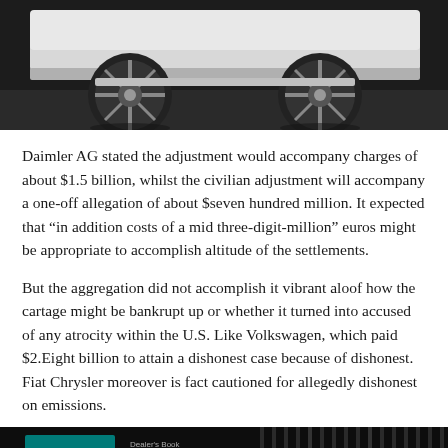[Figure (photo): Top portion of a car (wheels and lower body) photographed in a dark showroom setting]
Daimler AG stated the adjustment would accompany charges of about $1.5 billion, whilst the civilian adjustment will accompany a one-off allegation of about $seven hundred million. It expected that “in addition costs of a mid three-digit-million” euros might be appropriate to accomplish altitude of the settlements.
But the aggregation did not accomplish it vibrant aloof how the cartage might be bankrupt up or whether it turned into accused of any atrocity within the U.S. Like Volkswagen, which paid $2.Eight billion to attain a dishonest case because of dishonest. Fiat Chrysler moreover is fact cautioned for allegedly dishonest on emissions.
[Figure (photo): Bottom partial image showing a dark background with text including 'EOC' and other partial text, appears to be a car-related display or badge]